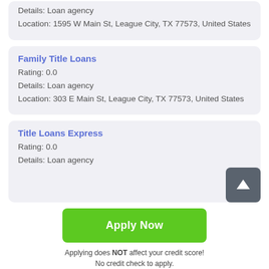Details: Loan agency
Location: 1595 W Main St, League City, TX 77573, United States
Family Title Loans
Rating: 0.0
Details: Loan agency
Location: 303 E Main St, League City, TX 77573, United States
Title Loans Express
Rating: 0.0
Details: Loan agency
Apply Now
Applying does NOT affect your credit score!
No credit check to apply.